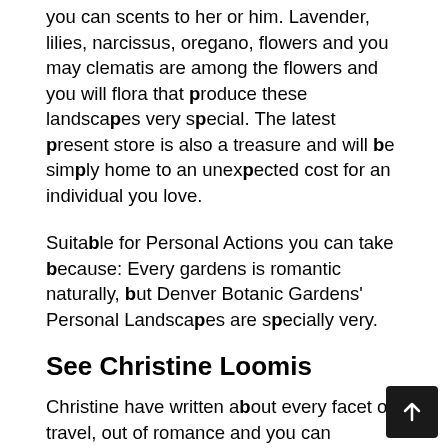you can scents to her or him. Lavender, lilies, narcissus, oregano, flowers and you may clematis are among the flowers and you will flora that produce these landscapes very special. The latest present store is also a treasure and will be simply home to an unexpected cost for an individual you love.
Suitable for Personal Actions you can take because: Every gardens is romantic naturally, but Denver Botanic Gardens' Personal Landscapes are specially very.
See Christine Loomis
Christine have written about every facet of travel, out of romance and you can adventure to help you household members and health. She is in addition to happy for had about three significant domestic claims through the years: Ny. A little